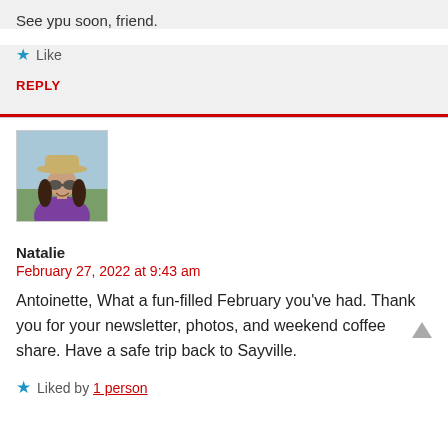See ypu soon, friend.
★ Like
REPLY
[Figure (photo): Avatar photo of Natalie, a woman wearing a wide-brim hat and sunglasses, smiling, in a purple shirt, outdoors.]
Natalie
February 27, 2022 at 9:43 am
Antoinette, What a fun-filled February you've had. Thank you for your newsletter, photos, and weekend coffee share. Have a safe trip back to Sayville.
★ Liked by 1 person